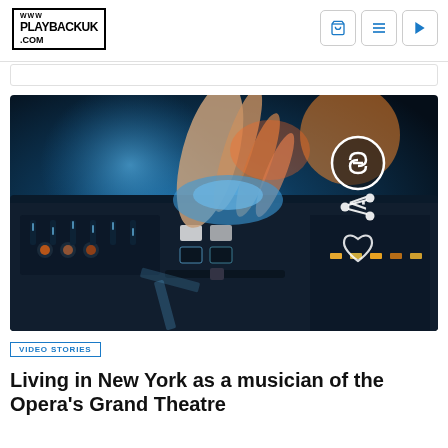WWW PLAYBACKUK .COM
[Figure (photo): Close-up photo of hands on a DJ mixer/controller with blue and orange lighting, with circular link icon, share icon, and heart icon overlaid on the right side of the image]
VIDEO STORIES
Living in New York as a musician of the Opera's Grand Theatre